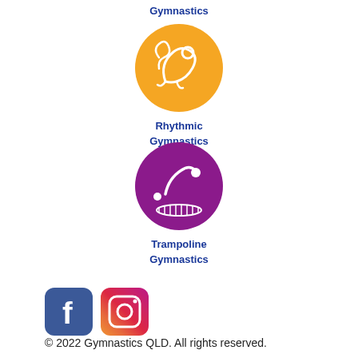Gymnastics
[Figure (illustration): Orange circle icon with white rhythmic gymnastics figure holding a rope]
Rhythmic Gymnastics
[Figure (illustration): Purple circle icon with white trampoline gymnastics figure and trampoline bed]
Trampoline Gymnastics
[Figure (logo): Facebook logo icon (blue rounded square with white F)]
[Figure (logo): Instagram logo icon (gradient rounded square with camera outline)]
© 2022 Gymnastics QLD. All rights reserved.